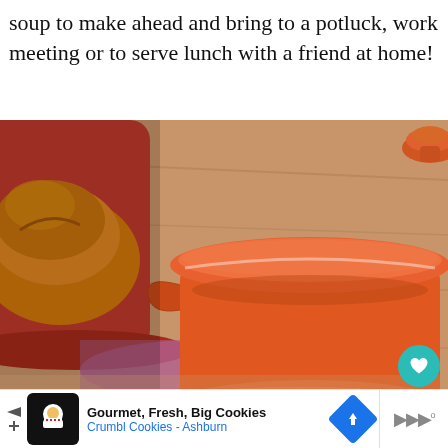soup to make ahead and bring to a potluck, work meeting or to serve lunch with a friend at home!
[Figure (photo): Close-up photo of orange/terracotta Le Creuset style ceramic cookware pots with lids on a wooden surface, alongside a red pot containing bread]
[Figure (infographic): Ad banner for Crumbl Cookies - Ashburn with logo, navigation arrows, and directional diamond button]